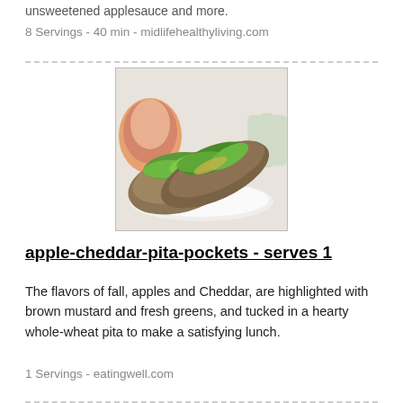unsweetened applesauce and more.
8 Servings - 40 min - midlifehealthyliving.com
[Figure (photo): Two whole-wheat pita pocket halves filled with green lettuce and cheese, served on a white plate with an apple and a glass in the background.]
apple-cheddar-pita-pockets - serves 1
The flavors of fall, apples and Cheddar, are highlighted with brown mustard and fresh greens, and tucked in a hearty whole-wheat pita to make a satisfying lunch.
1 Servings - eatingwell.com